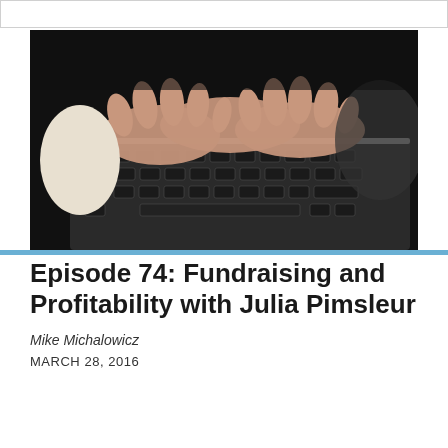[Figure (photo): Close-up photograph of two hands typing on a laptop keyboard, shot in dark moody lighting. The person is wearing a white/cream long-sleeve top. The laptop is silver/grey.]
Episode 74: Fundraising and Profitability with Julia Pimsleur
Mike Michalowicz
MARCH 28, 2016